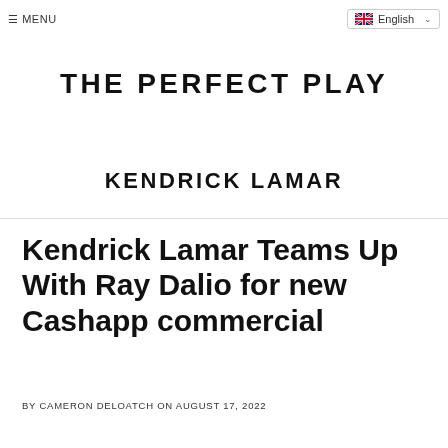≡ MENU  English
THE PERFECT PLAY
KENDRICK LAMAR
Kendrick Lamar Teams Up With Ray Dalio for new Cashapp commercial
BY CAMERON DELOATCH ON AUGUST 17, 2022